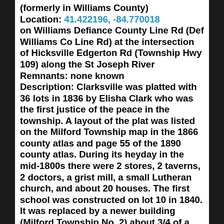(formerly in Williams County) Location: 41.422196, -84.770018 on Williams Defiance County Line Rd (Def Williams Co Line Rd) at the intersection of Hicksville Edgerton Rd (Township Hwy 109) along the St Joseph River Remnants: none known Description: Clarksville was platted with 36 lots in 1836 by Elisha Clark who was the first justice of the peace in the township. A layout of the plat was listed on the Milford Township map in the 1866 county atlas and page 55 of the 1890 county atlas. During its heyday in the mid-1800s there were 2 stores, 2 taverns, 2 doctors, a grist mill, a small Lutheran church, and about 20 houses. The first school was constructed on lot 10 in 1840. It was replaced by a newer building (Milford Township No. 2) about 3/4 of a mile south of the GPS coordinates in the northwest corner of the intersection of Hicksville Edgerton Rd and Kramer Rd on a 39-acre farm owned by the Cramer family. Clarksville